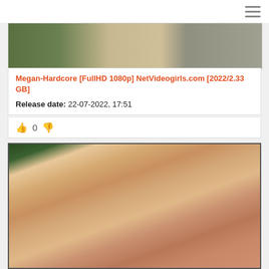[Figure (screenshot): Top navigation bar with hamburger menu icon]
[Figure (photo): Partial outdoor scene photo strip at top of content listing]
Megan-Hardcore [FullHD 1080p] NetVideogirls.com [2022/2.33 GB]
Release date: 22-07-2022, 17:51
0
[Figure (photo): Adult content photograph]